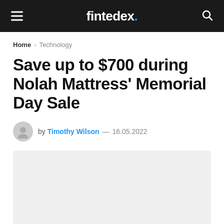fintedex.
Home > Technology
Save up to $700 during Nolah Mattress' Memorial Day Sale
by Timothy Wilson — 16.05.2022
[Figure (photo): Article hero image placeholder (light gray rectangle)]